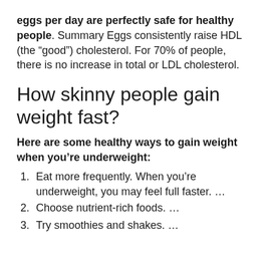eggs per day are perfectly safe for healthy people. Summary Eggs consistently raise HDL (the “good”) cholesterol. For 70% of people, there is no increase in total or LDL cholesterol.
How skinny people gain weight fast?
Here are some healthy ways to gain weight when you’re underweight:
Eat more frequently. When you’re underweight, you may feel full faster. …
Choose nutrient-rich foods. …
Try smoothies and shakes. …